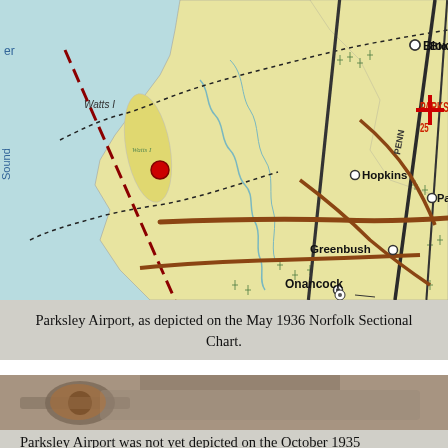[Figure (map): Portion of the May 1936 Norfolk Sectional Chart showing Parksley Airport and surrounding area including towns: Bloxom, Hopkins, Parksley (with '25' label and red cross), Greenbush, Onancock, Accomac, Tasley, Onley, Locustville, Harborton, Melfa, and Watts Island. Shows water bodies (Chesapeake Bay area, Sound), roads, railways (PENN), and navigational dotted boundary lines. A red dashed line runs diagonally on the left side.]
Parksley Airport, as depicted on the May 1936 Norfolk Sectional Chart.
[Figure (photo): Partial photograph of an aircraft, appears to be a vintage plane, showing engine and propeller area, muted brownish tones.]
Parksley Airport was not yet depicted on the October 1935